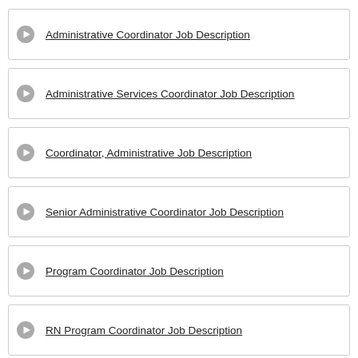Administrative Coordinator Job Description
Administrative Services Coordinator Job Description
Coordinator, Administrative Job Description
Senior Administrative Coordinator Job Description
Program Coordinator Job Description
RN Program Coordinator Job Description
Senior Program Coordinator Job Description